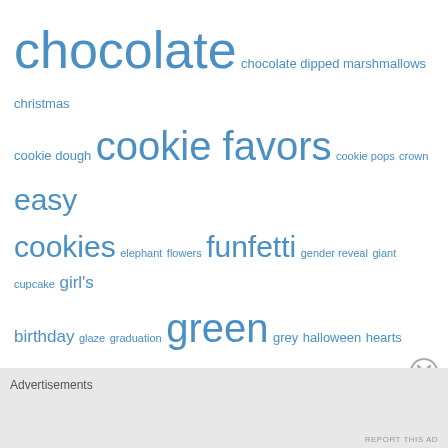[Figure (other): Tag cloud of cookie/baking related terms in varying blue font sizes indicating frequency/popularity. Terms include: chocolate, chocolate dipped marshmallows, christmas, cookie dough, cookie favors, cookie pops, crown, easy cookies, elephant, flowers, funfetti, gender reveal, giant cupcake, girl's birthday, glaze, graduation, green, grey, halloween, hearts, icing, lemon, lemon cake, lingerie, m&m's, marshmallows, monogram cookies, onesie, orange, oreos, peanut butter, peppermint, pink, polka dots, popcorn, pregnancy, Princess, pumpkin, purple, rainbow, red, reeses, rice krispy treats, s'more, sprinkles, Stitch Fix, st patrick's day, strawberry, sugar cookies, teal, tiffany blue]
Advertisements